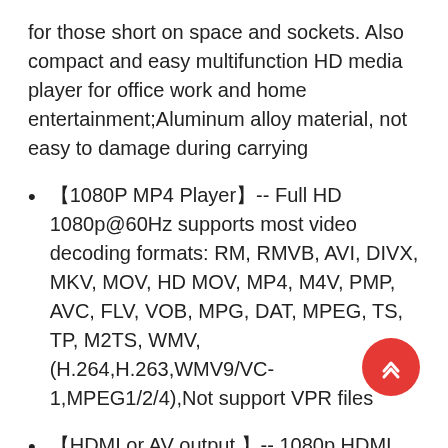for those short on space and sockets. Also compact and easy multifunction HD media player for office work and home entertainment;Aluminum alloy material, not easy to damage during carrying
【1080P MP4 Player】-- Full HD 1080p@60Hz supports most video decoding formats: RM, RMVB, AVI, DIVX, MKV, MOV, HD MOV, MP4, M4V, PMP, AVC, FLV, VOB, MPG, DAT, MPEG, TS, TP, M2TS, WMV, (H.264,H.263,WMV9/VC-1,MPEG1/2/4),Not support VPR files
【HDMI or AV output 】-- 1080p HDMI output for sending sharp and clear video and audio in pure digital format to HDTVs, as well as composite AV output for use with analog TVs